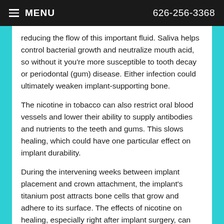≡ MENU    626-256-3368
reducing the flow of this important fluid. Saliva helps control bacterial growth and neutralize mouth acid, so without it you're more susceptible to tooth decay or periodontal (gum) disease. Either infection could ultimately weaken implant-supporting bone.
The nicotine in tobacco can also restrict oral blood vessels and lower their ability to supply antibodies and nutrients to the teeth and gums. This slows healing, which could have one particular effect on implant durability.
During the intervening weeks between implant placement and crown attachment, the implant's titanium post attracts bone cells that grow and adhere to its surface. The effects of nicotine on healing, especially right after implant surgery, can interfere with